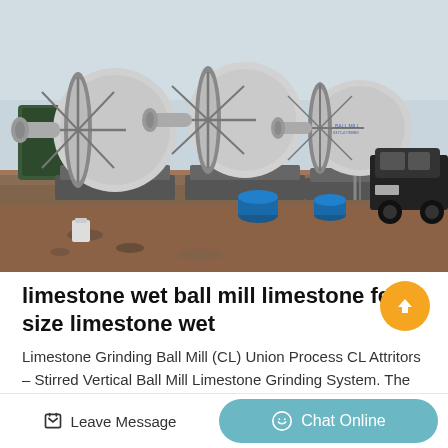[Figure (photo): Outdoor industrial setting showing three large horizontal ball mill machines mounted on concrete pads, with a black SUV visible on the right side and blue barrels in the background. Red-brown dirt ground visible in foreground.]
limestone wet ball mill limestone feed size limestone wet
Limestone Grinding Ball Mill (CL) Union Process CL Attritors – Stirred Vertical Ball Mill Limestone Grinding System. The economical CL Attritor Stirred Vert